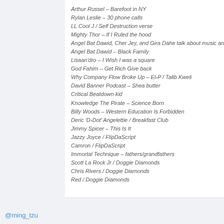Arthur Russel – Barefoot in NY
Rylan Leslie – 30 phone calls
LL Cool J / Self Destruction verse
Mighty Thor – If I Ruled the hood
Angel Bat Dawid, Cher Jey, and Gira Dahe talk about music and archi
Angel Bat Dawid – Black Family
Lisaan'dro – I Wish I was a square
God Fahim – Get Rich Give back
Why Company Flow Broke Up – El-P / Talib Kweli
David Banner Podcast – Shea butter
Critical Beatdown kid
Knowledge The Pirate – Science Born
Billy Woods – Western Education Is Forbidden
Deric 'D-Dot' Angelettie / Breakfast Club
Jimmy Spicer – This Is It
Jazzy Joyce / FlipDaScript
Camron / FlipDaScript
Immortal Technique – fathers/grandfathers
Scott La Rock Jr / Doggie Diamonds
Chris Rivers / Doggie Diamonds
Red / Doggie Diamonds
@ming_tzu